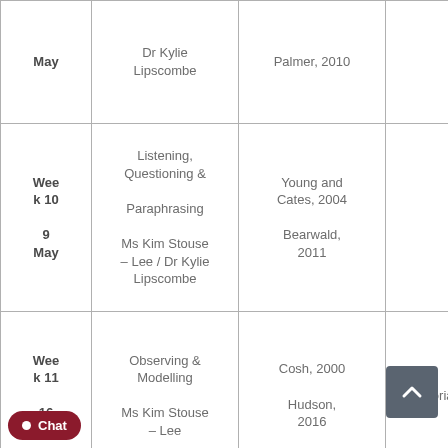| Week/Date | Topic / Presenter | References | Notes |
| --- | --- | --- | --- |
| May | Dr Kylie Lipscombe | Palmer, 2010 |  |
| Week 10
9 May | Listening, Questioning &
Paraphrasing
Ms Kim Stouse – Lee / Dr Kylie Lipscombe | Young and Cates, 2004
Bearwald, 2011 |  |
| Week 11
16 May | Observing &
Modelling
Ms Kim Stouse – Lee | Cosh, 2000
Hudson, 2016 | Tutorial |
| Wee |  | Armatas, |  |